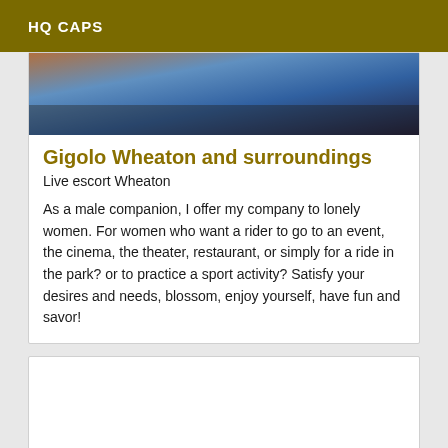HQ CAPS
[Figure (photo): Partial photo showing a person in blue clothing against a dark background]
Gigolo Wheaton and surroundings
Live escort Wheaton
As a male companion, I offer my company to lonely women. For women who want a rider to go to an event, the cinema, the theater, restaurant, or simply for a ride in the park? or to practice a sport activity? Satisfy your desires and needs, blossom, enjoy yourself, have fun and savor!